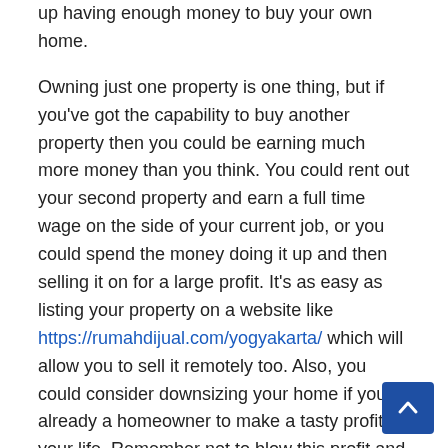up having enough money to buy your own home.

Owning just one property is one thing, but if you've got the capability to buy another property then you could be earning much more money than you think. You could rent out your second property and earn a full time wage on the side of your current job, or you could spend the money doing it up and then selling it on for a large profit. It's as easy as listing your property on a website like https://rumahdijual.com/yogyakarta/ which will allow you to sell it remotely too. Also, you could consider downsizing your home if you're already a homeowner to make a tasty profit in your life. Remember not to blow this profit and spend it on something that will help you